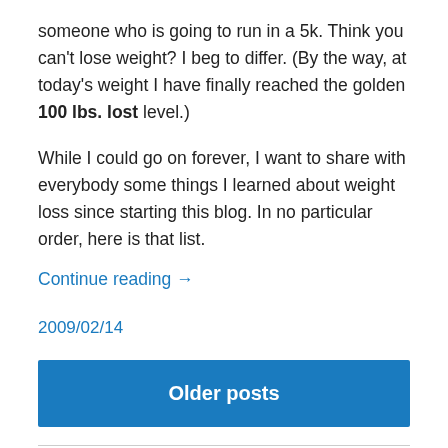someone who is going to run in a 5k. Think you can't lose weight? I beg to differ. (By the way, at today's weight I have finally reached the golden 100 lbs. lost level.)
While I could go on forever, I want to share with everybody some things I learned about weight loss since starting this blog. In no particular order, here is that list.
Continue reading →
2009/02/14
Older posts
Advertisements
[Figure (logo): Jetpack logo with green background, circular lightning bolt icon and white text reading Jetpack]